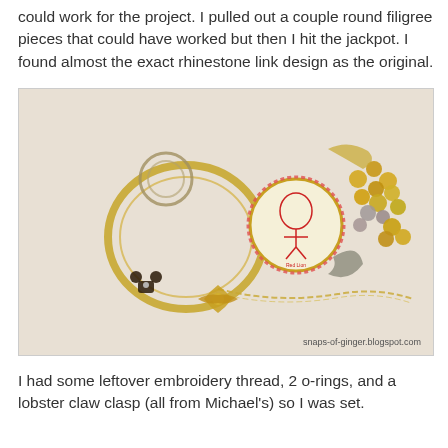could work for the project. I pulled out a couple round filigree pieces that could have worked but then I hit the jackpot. I found almost the exact rhinestone link design as the original.
[Figure (photo): A collection of vintage jewelry pieces arranged on a beige/cream fabric background, including a large gold bangle bracelet, a round cameo or medallion pendant with pink rhinestone border and a red illustration, golden and grey pearl clusters, a crescent moon shaped decorative piece, a gold chain necklace, and small decorative charms. Watermark reads snaps-of-ginger.blogspot.com]
I had some leftover embroidery thread, 2 o-rings, and a lobster claw clasp (all from Michael's) so I was set.